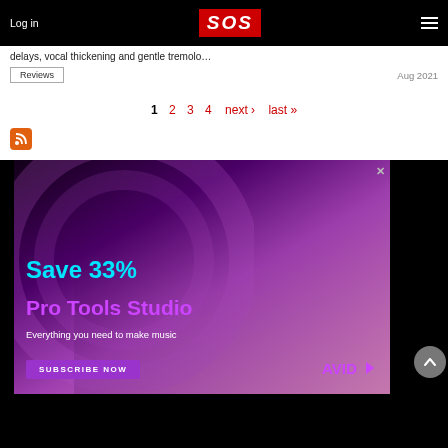Log in | SOS | Menu
delays, vocal thickening and gentle tremolo…
Reviews
Aug 2021
1 2 3 4 next › last »
[Figure (other): RSS feed icon — orange rounded square with RSS symbol]
[Figure (photo): Advertisement for Avid Pro Tools Studio: person playing guitar in front of a computer with pink/purple lighting. Text reads: Save 33% Pro Tools Studio — Everything you need to make music. Subscribe Now button and Avid logo at bottom.]